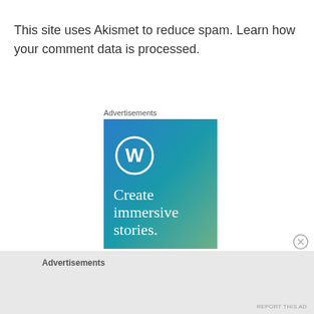This site uses Akismet to reduce spam. Learn how your comment data is processed.
Advertisements
[Figure (logo): WordPress advertisement banner with gradient blue-teal background, WordPress 'W' circle logo icon, and text 'Create immersive stories.']
Advertisements
REPORT THIS AD